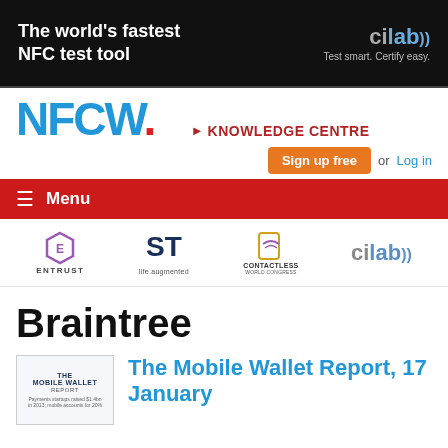[Figure (illustration): Banner advertisement: 'The world's fastest NFC test tool' with cilab logo and tagline 'Test smart. Certify easy.' on dark background with NFC device image]
[Figure (logo): NFCW logo in blue with red dot]
KNOWLEDGE CENTRE
Sign up free or Log in
Menu
[Figure (logo): Entrust logo - hexagon icon with ENTRUST text]
[Figure (logo): ST Microelectronics logo with 'life.augmented' tagline]
[Figure (logo): Contactless World Congress logo]
[Figure (logo): cilab logo]
Braintree
[Figure (illustration): Thumbnail image of 'The Mobile Wallet Report' publication cover]
The Mobile Wallet Report, 17 January